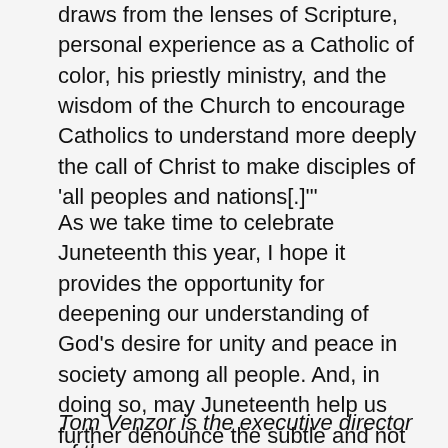draws from the lenses of Scripture, personal experience as a Catholic of color, his priestly ministry, and the wisdom of the Church to encourage Catholics to understand more deeply the call of Christ to make disciples of 'all peoples and nations[.]'"
As we take time to celebrate Juneteenth this year, I hope it provides the opportunity for deepening our understanding of God's desire for unity and peace in society among all people. And, in doing so, may Juneteenth help us further denounce the subtle and not so subtle forms of racism that still hold our country in the bondages of sin.
Tom Venzor is the executive director of the